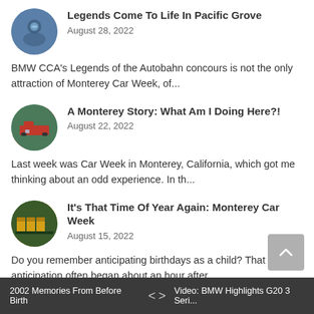[Figure (photo): Circular thumbnail image for 'Legends Come To Life In Pacific Grove' article]
Legends Come To Life In Pacific Grove
August 28, 2022
BMW CCA's Legends of the Autobahn concours is not the only attraction of Monterey Car Week, of...
[Figure (photo): Circular thumbnail image for 'A Monterey Story: What Am I Doing Here?!' article]
A Monterey Story: What Am I Doing Here?!
August 22, 2022
Last week was Car Week in Monterey, California, which got me thinking about an odd experience. In th...
[Figure (photo): Circular thumbnail image for 'It's That Time Of Year Again: Monterey Car Week' article]
It's That Time Of Year Again: Monterey Car Week
August 15, 2022
Do you remember anticipating birthdays as a child? That anticipation often began about an hour after...
2002 Memories From Before Birth  <  >  Video: BMW Highlights G20 3 Seri...